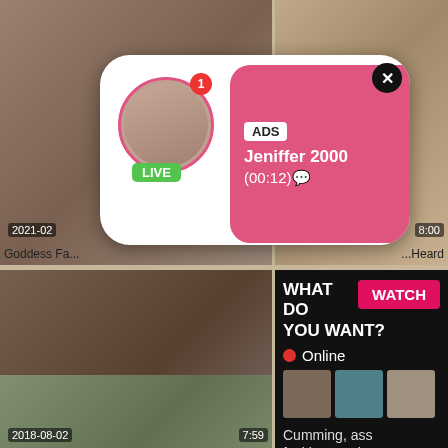[Figure (screenshot): Adult video thumbnail grid with advertisement popups overlaid. Top row shows two video thumbnails with timestamps '2021-02' and '8:00', titles 'Goddess Fa...' and '...Heard'. An ad popup overlay shows profile avatar with LIVE badge, notification dot, ADS label, name 'Jeniffer 2000', time '(00:12)', and X close button. Middle row shows video thumbnail 'Lucky guy milf party After School' and an ad panel with 'WHAT DO YOU WANT?' text, WATCH button, Online indicator, thumbnail images, description 'Cumming, ass fucking, squirt or...' and ADS marker with timestamp '5:23'. Bottom row shows two more video thumbnails with timestamps '2018-08-02 / 7:59' and '2021-02-20 / 1:16'.]